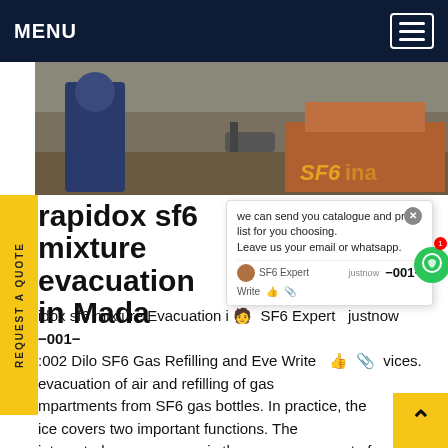MENU
[Figure (photo): Worker in blue overalls on an industrial site with equipment, SF6 China text overlay visible]
rapidox sf6 mixture evacuation in Madagascar
we can send you catalogue and price list for you choosing. Leave us your email or whatsapp.
rapidox sf6 mixture Evacuation i ... -001-:002 Dilo SF6 Gas Refilling and Evacuation services. evacuation of air and refilling of gas compartments from SF6 gas bottles. In practice, the device covers two important functions. The integrated vacuum pump is the core component of the device. This vacuum pump evacuates the air down to < 1 mbar so that no air/gas mixture is... Get price